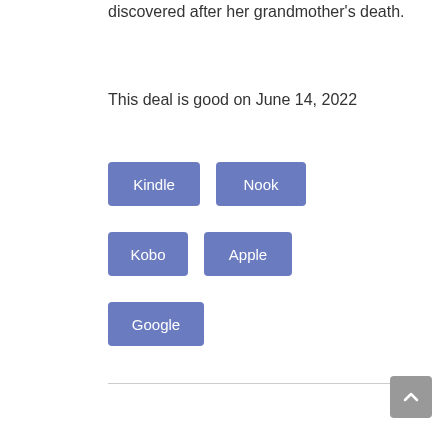discovered after her grandmother's death.
This deal is good on June 14, 2022
Kindle
Nook
Kobo
Apple
Google